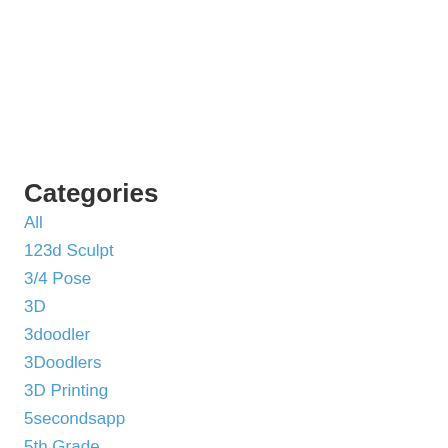Categories
All
123d Sculpt
3/4 Pose
3D
3doodler
3Doodlers
3D Printing
5secondsapp
5th Grade
Abc/25
Abigail
Abstract